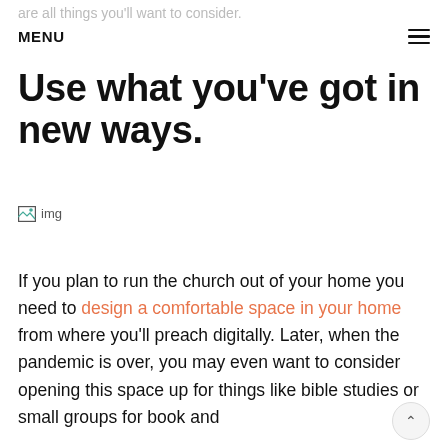are all things you'll want to consider.
MENU
Use what you've got in new ways.
[Figure (photo): An image placeholder labeled 'img' appearing as a broken image icon]
If you plan to run the church out of your home you need to design a comfortable space in your home from where you'll preach digitally. Later, when the pandemic is over, you may even want to consider opening this space up for things like bible studies or small groups for book and